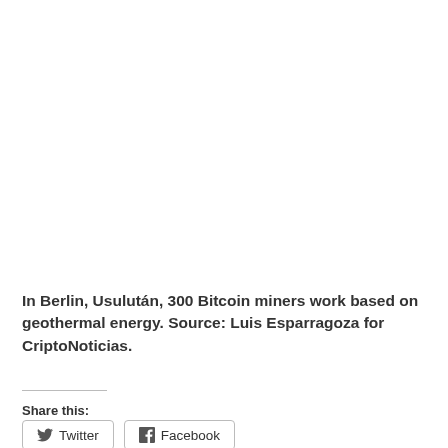In Berlin, Usulután, 300 Bitcoin miners work based on geothermal energy. Source: Luis Esparragoza for CriptoNoticias.
Share this: